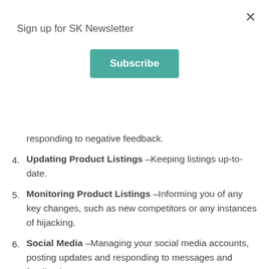Sign up for SK Newsletter
to, and posting positive feedback. Removing or responding to negative feedback.
4. Updating Product Listings –Keeping listings up-to-date.
5. Monitoring Product Listings –Informing you of any key changes, such as new competitors or any instances of hijacking.
6. Social Media –Managing your social media accounts, posting updates and responding to messages and feedback on your accounts.